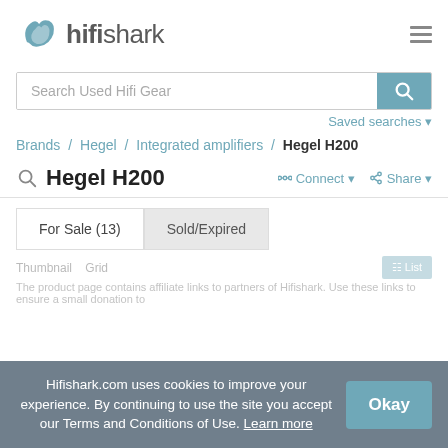[Figure (logo): Hifishark logo with shark icon and text 'hifishark']
Search Used Hifi Gear
Saved searches ▾
Brands / Hegel / Integrated amplifiers / Hegel H200
Hegel H200
Connect ▾
Share ▾
For Sale (13)
Sold/Expired
Hifishark.com uses cookies to improve your experience. By continuing to use the site you accept our Terms and Conditions of Use. Learn more